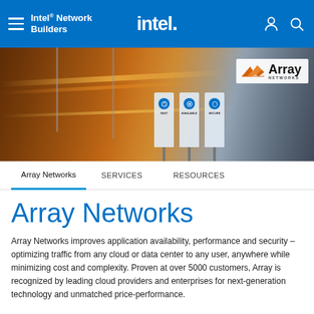Intel® Network Builders — intel.
[Figure (photo): Hero banner image of a transit station or highway at night with motion blur and warm orange lighting. Three kiosks with icons labeled FAST, AVAILABLE, SECURE are visible. Array Networks logo overlaid on right side.]
Array Networks  SERVICES  RESOURCES
Array Networks
Array Networks improves application availability, performance and security – optimizing traffic from any cloud or data center to any user, anywhere while minimizing cost and complexity. Proven at over 5000 customers, Array is recognized by leading cloud providers and enterprises for next-generation technology and unmatched price-performance.